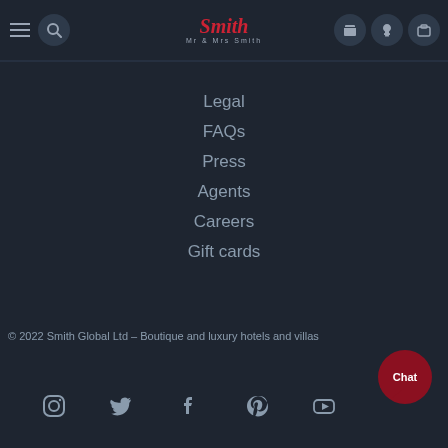[Figure (logo): Mr & Mrs Smith logo with hamburger menu, search, phone, heart, and suitcase icons in dark navy header]
Legal
FAQs
Press
Agents
Careers
Gift cards
© 2022 Smith Global Ltd – Boutique and luxury hotels and villas
[Figure (infographic): Social media icons: Instagram, Twitter, Facebook, Pinterest, YouTube]
[Figure (other): Dark red chat bubble button with text 'Chat']